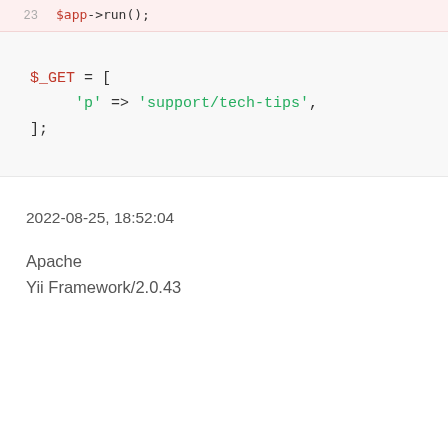23    $app->run();
$_GET = [
    'p' => 'support/tech-tips',
];
2022-08-25, 18:52:04
Apache
Yii Framework/2.0.43